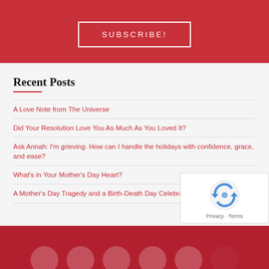[Figure (other): Red subscription banner top section with SUBSCRIBE! button]
Recent Posts
A Love Note from The Universe
Did Your Resolution Love You As Much As You Loved It?
Ask Annah: I'm grieving. How can I handle the holidays with confidence, grace, and ease?
What's in Your Mother's Day Heart?
A Mother's Day Tragedy and a Birth-Death Day Celebration
Red footer with social media circle icons and reCAPTCHA widget